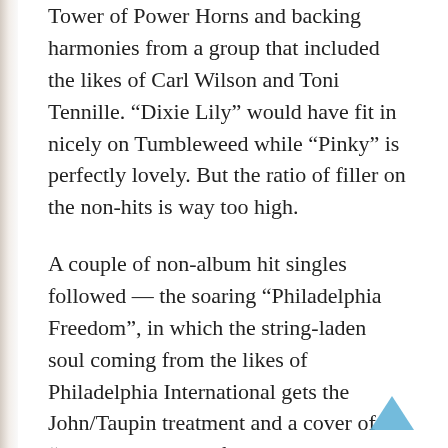Tower of Power Horns and backing harmonies from a group that included the likes of Carl Wilson and Toni Tennille. “Dixie Lily” would have fit in nicely on Tumbleweed while “Pinky” is perfectly lovely. But the ratio of filler on the non-hits is way too high.
A couple of non-album hit singles followed — the soaring “Philadelphia Freedom”, in which the string-laden soul coming from the likes of Philadelphia International gets the John/Taupin treatment and a cover of “Lucy in the Sky”, featuring John Lennon, in which